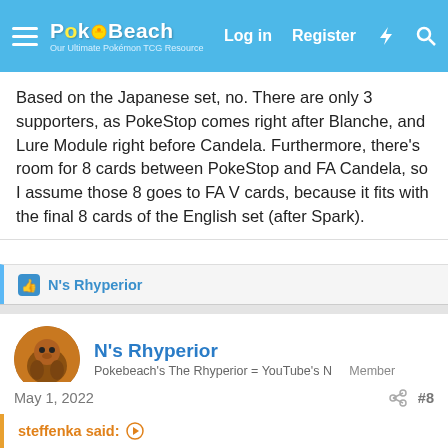PokéBeach — Log in | Register
Based on the Japanese set, no. There are only 3 supporters, as PokeStop comes right after Blanche, and Lure Module right before Candela. Furthermore, there's room for 8 cards between PokeStop and FA Candela, so I assume those 8 goes to FA V cards, because it fits with the final 8 cards of the English set (after Spark).
N's Rhyperior
N's Rhyperior
Pokebeach's The Rhyperior = YouTube's N    Member
May 1, 2022    #8
steffenka said: ↑
Based on the Japanese set, no. There are only 3 supporters, as PokeStop comes right after Blanche, and Lure Module right before Candela. Furthermore, there's room for 8 cards between PokeStop